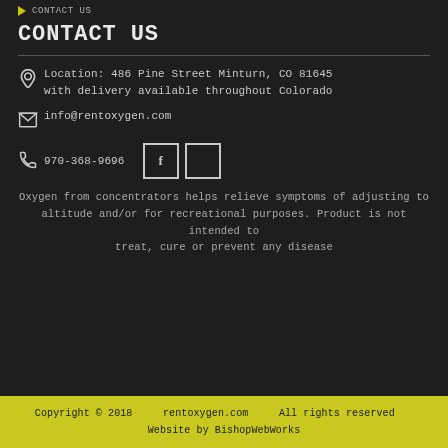CONTACT US
CONTACT US
Location: 486 Pine Street Minturn, CO 81645 with delivery available throughout Colorado
info@rentoxygen.com
970-368-9696
Oxygen from concentrators helps relieve symptoms of adjusting to altitude and/or for recreational purposes. Product is not intended to treat, cure or prevent any disease
Copyright © 2018   rentoxygen.com   All rights reserved   Website by BishopWebWorks